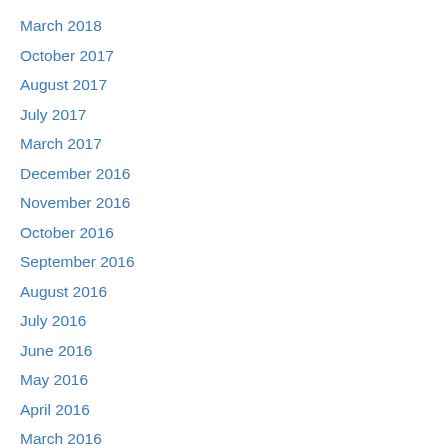March 2018
October 2017
August 2017
July 2017
March 2017
December 2016
November 2016
October 2016
September 2016
August 2016
July 2016
June 2016
May 2016
April 2016
March 2016